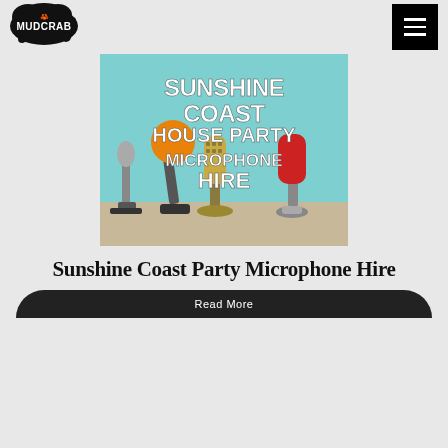[Figure (logo): Mudcrab logo — black splatter blob with white text 'MUDCRAB' and a crab icon]
[Figure (photo): Promotional image with teal background showing multiple vintage and modern microphones on a wooden surface. White bold text overlay reads: SUNSHINE COAST HOUSE PARTY MICROPHONE HIRE]
Sunshine Coast Party Microphone Hire